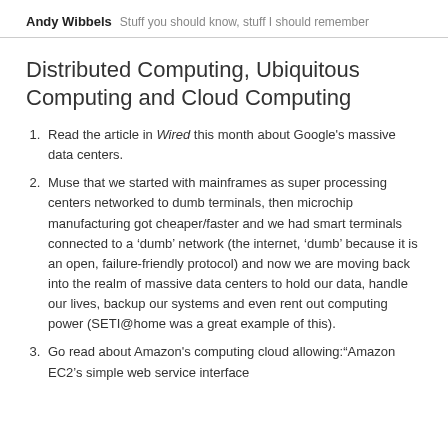Andy Wibbels  Stuff you should know, stuff I should remember
Distributed Computing, Ubiquitous Computing and Cloud Computing
Read the article in Wired this month about Google's massive data centers.
Muse that we started with mainframes as super processing centers networked to dumb terminals, then microchip manufacturing got cheaper/faster and we had smart terminals connected to a ‘dumb’ network (the internet, ‘dumb’ because it is an open, failure-friendly protocol) and now we are moving back into the realm of massive data centers to hold our data, handle our lives, backup our systems and even rent out computing power (SETI@home was a great example of this).
Go read about Amazon's computing cloud allowing:“Amazon EC2’s simple web service interface